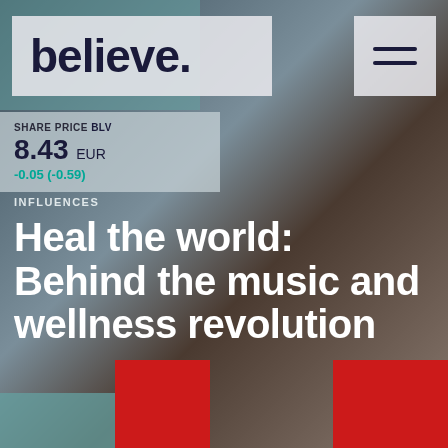[Figure (photo): Close-up of a young Black woman wearing large cream/beige headphones and round glasses, set against a dark background. She wears a red top. The image serves as the full-page background for a Believe music company webpage.]
believe.
SHARE PRICE BLV
8.43 EUR
-0.05 (-0.59)
INFLUENCES
Heal the world: Behind the music and wellness revolution